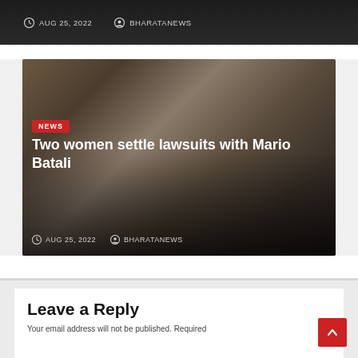[Figure (photo): Dark card with date and author metadata: AUG 25, 2022 and BHARATANEWS, partial top of previous article card]
[Figure (photo): News article card with photo of Mario Batali in courtroom setting, bearing NEWS badge and title 'Two women settle lawsuits with Mario Batali', with date AUG 25, 2022 and author BHARATANEWS]
Two women settle lawsuits with Mario Batali
AUG 25, 2022   BHARATANEWS
Leave a Reply
Your email address will not be published. Required